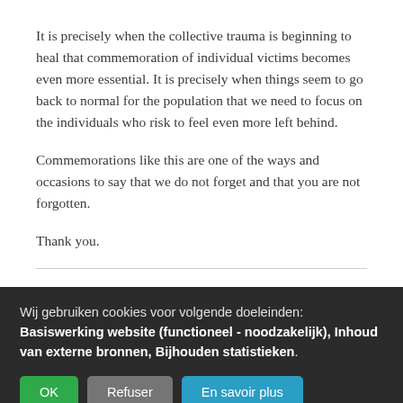It is precisely when the collective trauma is beginning to heal that commemoration of individual victims becomes even more essential. It is precisely when things seem to go back to normal for the population that we need to focus on the individuals who risk to feel even more left behind.
Commemorations like this are one of the ways and occasions to say that we do not forget and that you are not forgotten.
Thank you.
Wij gebruiken cookies voor volgende doeleinden: Basiswerking website (functioneel - noodzakelijk), Inhoud van externe bronnen, Bijhouden statistieken.